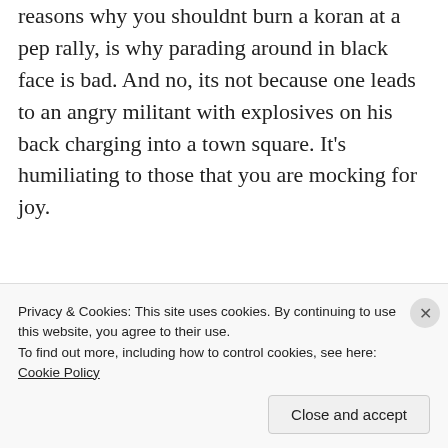reasons why you shouldnt burn a koran at a pep rally, is why parading around in black face is bad. And no, its not because one leads to an angry militant with explosives on his back charging into a town square. It's humiliating to those that you are mocking for joy.
★ Like
REPLY
Privacy & Cookies: This site uses cookies. By continuing to use this website, you agree to their use.
To find out more, including how to control cookies, see here: Cookie Policy
Close and accept